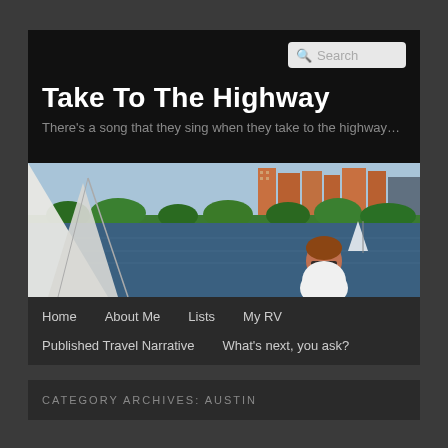Take To The Highway
There's a song that they sing when they take to the highway…
[Figure (photo): Sailboat on water with city skyline and trees in background; woman with sunglasses visible on boat]
Home
About Me
Lists
My RV
Published Travel Narrative
What's next, you ask?
CATEGORY ARCHIVES: AUSTIN